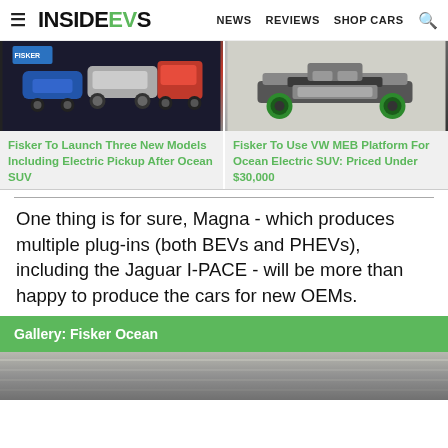INSIDEEVS | NEWS REVIEWS SHOP CARS
[Figure (photo): Fisker electric vehicles at a display event, multiple car models shown]
Fisker To Launch Three New Models Including Electric Pickup After Ocean SUV
[Figure (photo): Fisker Ocean EV platform/skateboard chassis render showing battery and motor layout]
Fisker To Use VW MEB Platform For Ocean Electric SUV: Priced Under $30,000
One thing is for sure, Magna - which produces multiple plug-ins (both BEVs and PHEVs), including the Jaguar I-PACE - will be more than happy to produce the cars for new OEMs.
Gallery: Fisker Ocean
[Figure (photo): Partial photo of Fisker Ocean vehicle exterior]